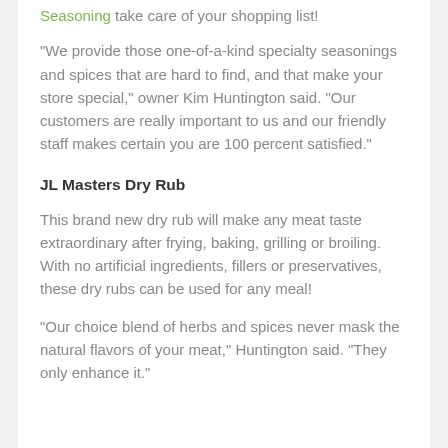All Seasoning take care of your shopping list!
“We provide those one-of-a-kind specialty seasonings and spices that are hard to find, and that make your store special,” owner Kim Huntington said. “Our customers are really important to us and our friendly staff makes certain you are 100 percent satisfied.”
JL Masters Dry Rub
This brand new dry rub will make any meat taste extraordinary after frying, baking, grilling or broiling. With no artificial ingredients, fillers or preservatives, these dry rubs can be used for any meal!
“Our choice blend of herbs and spices never mask the natural flavors of your meat,” Huntington said. “They only enhance it.”